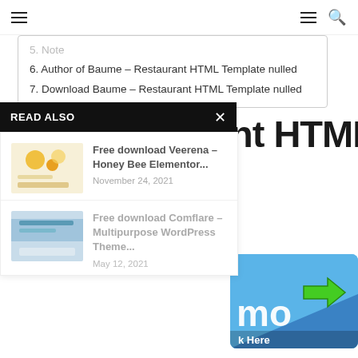Navigation bar with hamburger menus and search icon
5. Note
6. Author of Baume – Restaurant HTML Template nulled
7. Download Baume – Restaurant HTML Template nulled
READ ALSO
[Figure (screenshot): Thumbnail for Veerena Honey Bee Elementor article]
Free download Veerena – Honey Bee Elementor...
November 24, 2021
[Figure (screenshot): Thumbnail for Comflare Multipurpose WordPress Theme article]
Free download Comflare – Multipurpose WordPress Theme...
May 12, 2021
nt HTML
[Figure (illustration): Blue banner with green arrow and text 'mo' and 'k Here' — download call to action button]